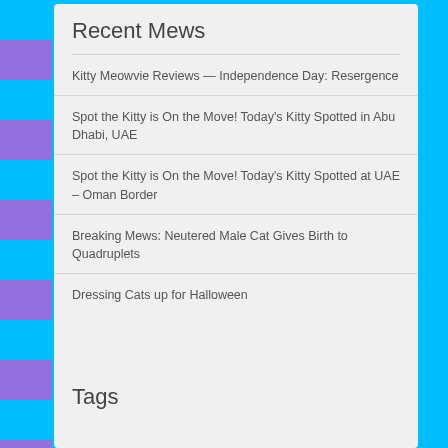Recent Mews
Kitty Meowvie Reviews — Independence Day: Resergence
Spot the Kitty is On the Move! Today's Kitty Spotted in Abu Dhabi, UAE
Spot the Kitty is On the Move! Today's Kitty Spotted at UAE – Oman Border
Breaking Mews: Neutered Male Cat Gives Birth to Quadruplets
Dressing Cats up for Halloween
Tags